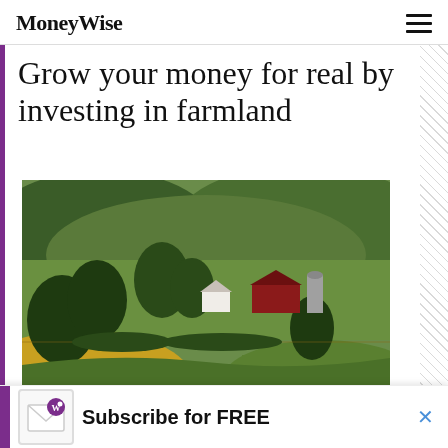MoneyWise
Grow your money for real by investing in farmland
[Figure (photo): Aerial view of rolling farmland with green fields, trees, red barns, a silo, and a white farmhouse on a sunny day]
Farmland is one of the top asset classes
Subscribe for FREE